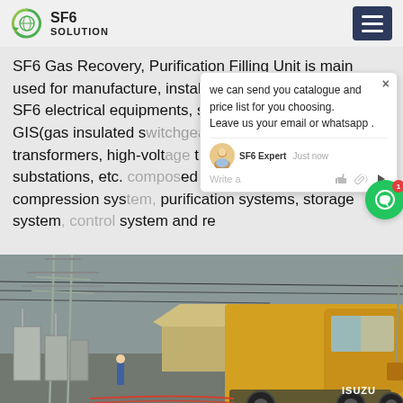SF6 SOLUTION
SF6 Gas Recovery, Purification Filling Unit is main used for manufacture, installation and maintenance of SF6 electrical equipments, such as circuit breakers, GIS(gas insulated switchgears), high-voltage transformers, high-voltage transmission lines, substations, etc. composed of vacuum system, compression system, purification systems, storage system, control system and re
[Figure (screenshot): Chat popup overlay showing message: 'we can send you catalogue and price list for you choosing. Leave us your email or whatsapp.' with SF6 Expert agent and a green chat button with notification badge showing 1.]
[Figure (photo): Outdoor industrial photo showing electrical substation equipment on the left and a yellow ISUZU truck on the right, with power lines and transformer infrastructure visible.]